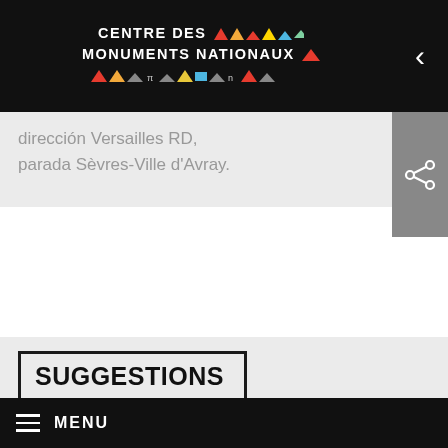CENTRE DES MONUMENTS NATIONAUX
dirección Versailles RD, parada Sèvres-Ville d'Avray.
SUGGESTIONS
Useful addresses:
Hauts-de-Seine Tourist Board
tel.: (33) (0)1 46 93 92 92
www.tourisme-hautsdeseine.com
MENU